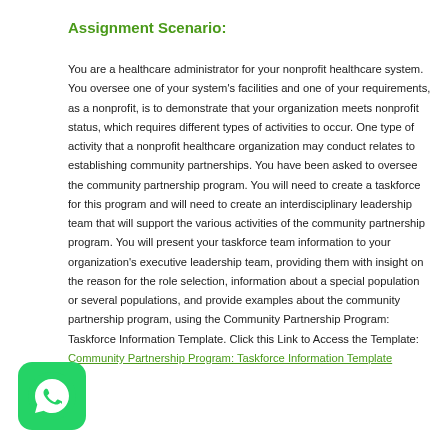Assignment Scenario:
You are a healthcare administrator for your nonprofit healthcare system. You oversee one of your system's facilities and one of your requirements, as a nonprofit, is to demonstrate that your organization meets nonprofit status, which requires different types of activities to occur. One type of activity that a nonprofit healthcare organization may conduct relates to establishing community partnerships. You have been asked to oversee the community partnership program. You will need to create a taskforce for this program and will need to create an interdisciplinary leadership team that will support the various activities of the community partnership program. You will present your taskforce team information to your organization's executive leadership team, providing them with insight on the reason for the role selection, information about a special population or several populations, and provide examples about the community partnership program, using the Community Partnership Program: Taskforce Information Template. Click this Link to Access the Template: Community Partnership Program: Taskforce Information Template